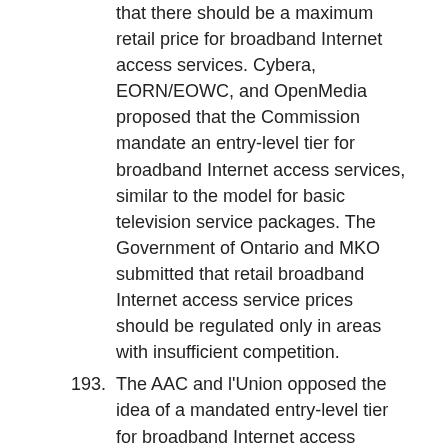that there should be a maximum retail price for broadband Internet access services. Cybera, EORN/EOWC, and OpenMedia proposed that the Commission mandate an entry-level tier for broadband Internet access services, similar to the model for basic television service packages. The Government of Ontario and MKO submitted that retail broadband Internet access service prices should be regulated only in areas with insufficient competition.
193. The AAC and l'Union opposed the idea of a mandated entry-level tier for broadband Internet access services, submitting that this measure would not provide the flexibility to respond to end-users' needs. Rather, they proposed that the Commission implement an affordability subsidy to support broadband Internet access services for low-income households. Similarly, SSi proposed a subsidy mechanism targeted to consumers living in HCSAs.
194. By contrast, most ISPs argued that prices for